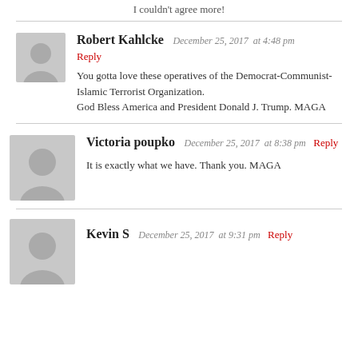I couldn't agree more!
Robert Kahlcke  December 25, 2017  at 4:48 pm
Reply
You gotta love these operatives of the Democrat-Communist-Islamic Terrorist Organization.
God Bless America and President Donald J. Trump. MAGA
Victoria poupko  December 25, 2017  at 8:38 pm
Reply
It is exactly what we have. Thank you. MAGA
Kevin S  December 25, 2017  at 9:31 pm  Reply